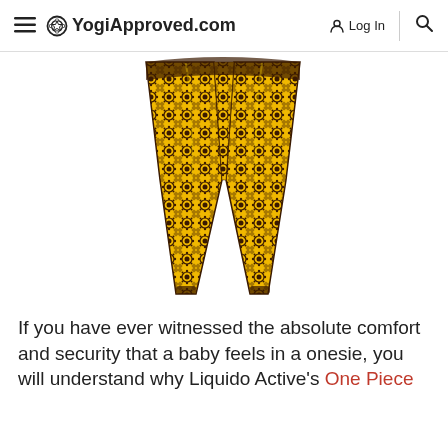≡ YogiApproved.com  Log In 🔍
[Figure (photo): Yellow and black ornate patterned yoga leggings shown from waist to ankle on white background]
If you have ever witnessed the absolute comfort and security that a baby feels in a onesie, you will understand why Liquido Active's One Piece